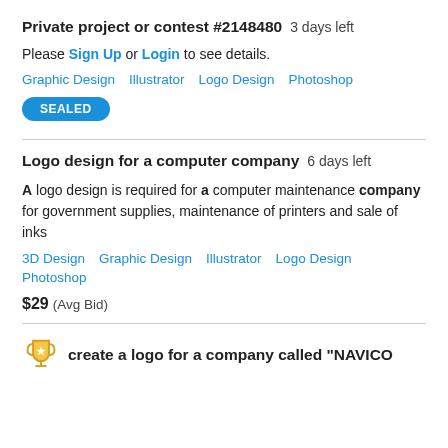Private project or contest #2148480  3 days left
Please Sign Up or Login to see details.
Graphic Design   Illustrator   Logo Design   Photoshop
SEALED
Logo design for a computer company  6 days left
A logo design is required for a computer maintenance company for government supplies, maintenance of printers and sale of inks
3D Design   Graphic Design   Illustrator   Logo Design   Photoshop
$29  (Avg Bid)
create a logo for a company called "NAVICO